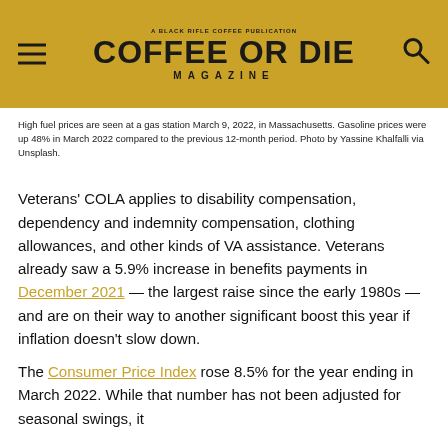COFFEE OR DIE MAGAZINE
High fuel prices are seen at a gas station March 9, 2022, in Massachusetts. Gasoline prices were up 48% in March 2022 compared to the previous 12-month period. Photo by Yassine Khalfalli via Unsplash.
Veterans' COLA applies to disability compensation, dependency and indemnity compensation, clothing allowances, and other kinds of VA assistance. Veterans already saw a 5.9% increase in benefits payments in December 2021 — the largest raise since the early 1980s — and are on their way to another significant boost this year if inflation doesn't slow down.
The Consumer Price Index rose 8.5% for the year ending in March 2022. While that number has not been adjusted for seasonal swings, it